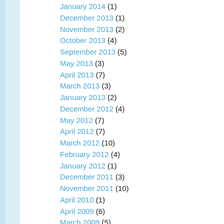January 2014 (1)
December 2013 (1)
November 2013 (2)
October 2013 (4)
September 2013 (5)
May 2013 (3)
April 2013 (7)
March 2013 (3)
January 2013 (2)
December 2012 (4)
May 2012 (7)
April 2012 (7)
March 2012 (10)
February 2012 (4)
January 2012 (1)
December 2011 (3)
November 2011 (10)
April 2010 (1)
April 2009 (6)
March 2009 (5)
September 2008 (3)